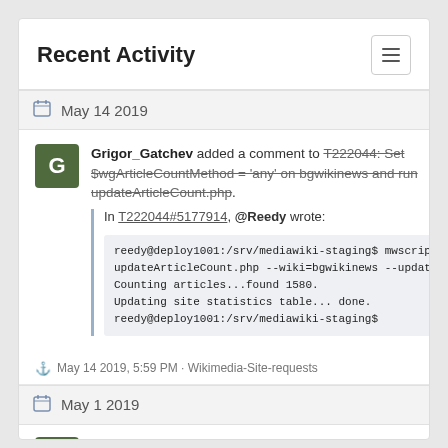Recent Activity
May 14 2019
Grigor_Gatchev added a comment to T222044: Set $wgArticleCountMethod = 'any' on bgwikinews and run updateArticleCount.php.
In T222044#5177914, @Reedy wrote:
reedy@deploy1001:/srv/mediawiki-staging$ mwscript updateArticleCount.php --wiki=bgwikinews --update
Counting articles...found 1580.
Updating site statistics table... done.
reedy@deploy1001:/srv/mediawiki-staging$
May 14 2019, 5:59 PM · Wikimedia-Site-requests
May 1 2019
Grigor_Gatchev added a comment to T222044: Set $wgArticleCountMethod = ...